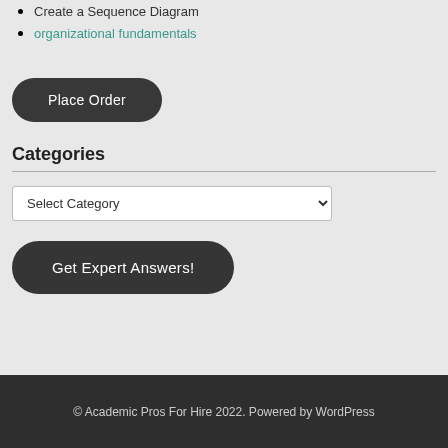Create a Sequence Diagram
organizational fundamentals
Place Order
Categories
Select Category
Get Expert Answers!
© Academic Pros For Hire 2022. Powered by WordPress